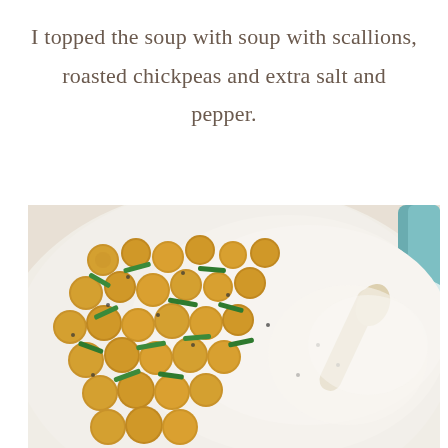I topped the soup with soup with scallions, roasted chickpeas and extra salt and pepper.
[Figure (photo): Close-up overhead photo of a white bowl of creamy soup topped with golden roasted chickpeas, chopped green scallions, and black pepper. A beige spoon rests in the bowl on the right side, and a teal/blue pot handle is visible at the top right.]